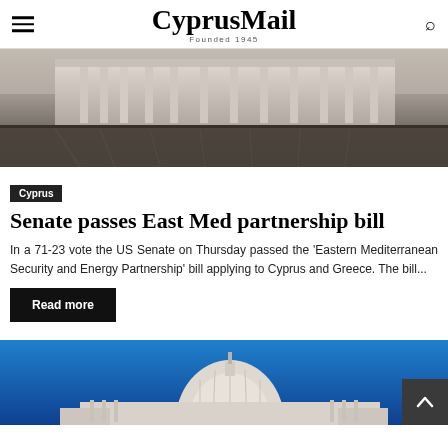CyprusMail — Founded 1945
[Figure (photo): Grayscale photo of a classical government building with columns and a wet reflective plaza in the foreground]
Cyprus
Senate passes East Med partnership bill
In a 71-23 vote the US Senate on Thursday passed the 'Eastern Mediterranean Security and Energy Partnership' bill applying to Cyprus and Greece. The bill...
Read more
[Figure (photo): Photo of the US Capitol building dome against a blue sky]